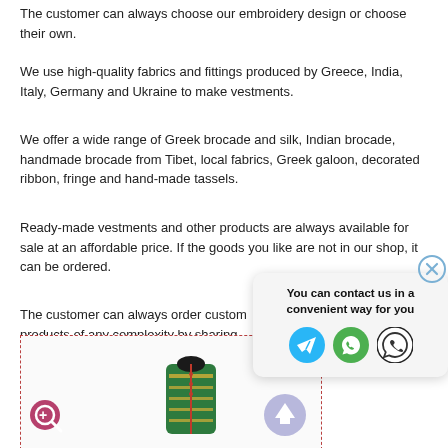The customer can always choose our embroidery design or choose their own.
We use high-quality fabrics and fittings produced by Greece, India, Italy, Germany and Ukraine to make vestments.
We offer a wide range of Greek brocade and silk, Indian brocade, handmade brocade from Tibet, local fabrics, Greek galoon, decorated ribbon, fringe and hand-made tassels.
Ready-made vestments and other products are always available for sale at an affordable price. If the goods you like are not in our shop, it can be ordered.
The customer can always order custom products of any complexity by sharing their design sketch and project idea.
Size Chart
[Figure (photo): A green embroidered vestment/robe on a mannequin, shown inside a dashed red border image area with a magnify icon and upload button]
[Figure (infographic): Contact popup overlay with text 'You can contact us in a convenient way for you' and icons for Telegram, WhatsApp, and Viber, with a close (X) button]